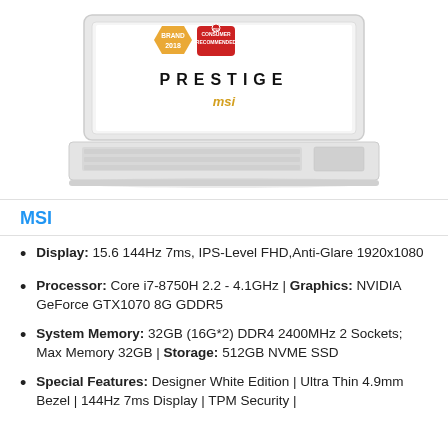[Figure (photo): MSI Prestige laptop in white color, shown open with keyboard visible. Screen displays 'PRESTIGE' branding and MSI logo. Two award badges visible on screen: 'Brand 2018' (gold/orange) and 'Consumer Recommended' (red/white).]
MSI
Display: 15.6 144Hz 7ms, IPS-Level FHD,Anti-Glare 1920x1080
Processor: Core i7-8750H 2.2 - 4.1GHz | Graphics: NVIDIA GeForce GTX1070 8G GDDR5
System Memory: 32GB (16G*2) DDR4 2400MHz 2 Sockets; Max Memory 32GB | Storage: 512GB NVME SSD
Special Features: Designer White Edition | Ultra Thin 4.9mm Bezel | 144Hz 7ms Display | TPM Security |